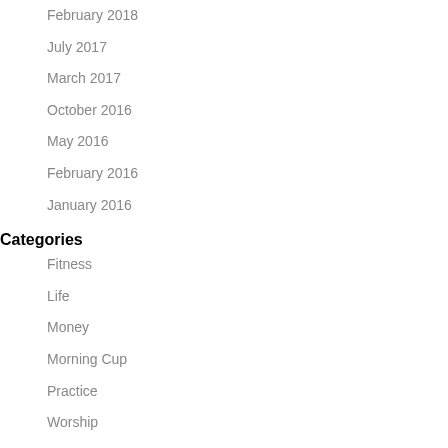February 2018
July 2017
March 2017
October 2016
May 2016
February 2016
January 2016
Categories
Fitness
Life
Money
Morning Cup
Practice
Worship